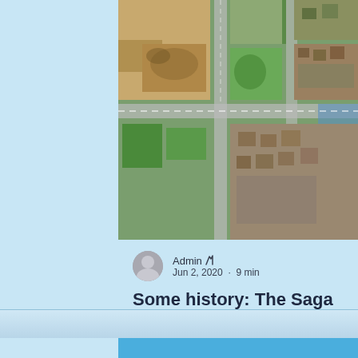[Figure (photo): Aerial view of an urban area showing construction sites, roads, green spaces, and residential buildings, photographed from above.]
Admin · Jun 2, 2020 · 9 min
Some history: The Saga of White Star
The saga of White Star Originally published on Tue., Feb. 15, 2011 Full Op-Ed - The Hamilton Spectator...